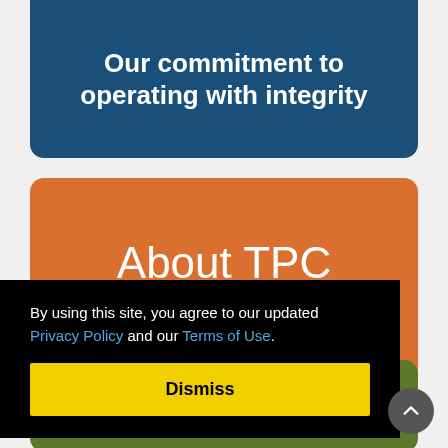Our commitment to operating with integrity
About TPC Group
By using this site, you agree to our updated Privacy Policy and our Terms of Use.
Dismiss
Enabling employees to